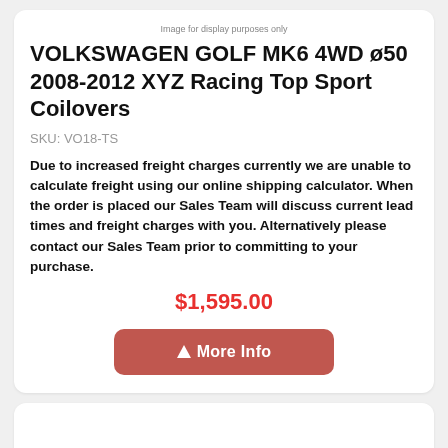Image for display purposes only
VOLKSWAGEN GOLF MK6 4WD ø50 2008-2012 XYZ Racing Top Sport Coilovers
SKU: VO18-TS
Due to increased freight charges currently we are unable to calculate freight using our online shipping calculator. When the order is placed our Sales Team will discuss current lead times and freight charges with you. Alternatively please contact our Sales Team prior to committing to your purchase.
$1,595.00
⚠ More Info